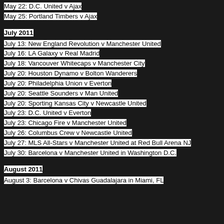May 22: D.C. United v Ajax
May 25: Portland Timbers v Ajax
July 2011
July 13: New England Revolution v Manchester United
July 16: LA Galaxy v Real Madrid
July 18: Vancouver Whitecaps v Manchester City
July 20: Houston Dynamo v Bolton Wanderers
July 20: Philadelphia Union v Everton
July 20: Seattle Sounders v Man United
July 20: Sporting Kansas City v Newcastle United
July 23: D.C. United v Everton
July 23: Chicago Fire v Manchester United
July 26: Columbus Crew v Newcastle United
July 27: MLS All-Stars v Manchester United at Red Bull Arena NJ
July 30: Barcelona v Manchester United in Washington D.C.
August 2011
August 3: Barcelona v Chivas Guadalajara in Miami, FL